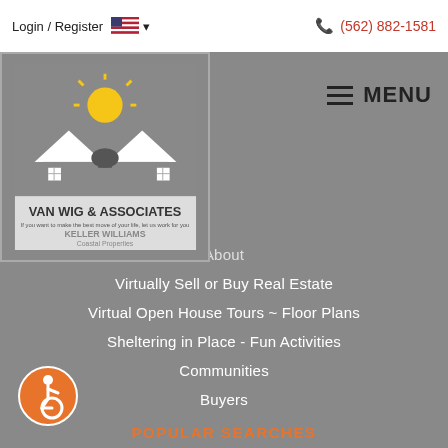Login / Register  🇺🇸 ▾   (562) 882-1581
[Figure (logo): Van Wig & Associates Keller Williams Coastal Properties logo with house silhouette and sun]
MENU
About
Virtually Sell or Buy Real Estate
Virtual Open House Tours ~ Floor Plans
Sheltering in Place - Fun Activities
Communities
Buyers
POPULAR SEARCHES
Newest Listings
Single Family
Condos & Townhomes
Luxury Homes
Featured Listings
[Figure (illustration): Accessibility icon — orange circle with wheelchair user symbol]